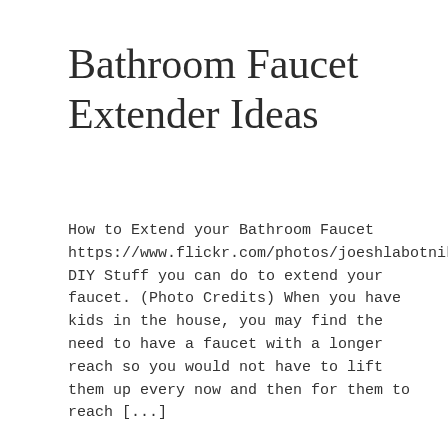Bathroom Faucet Extender Ideas
How to Extend your Bathroom Faucet https://www.flickr.com/photos/joeshlabotnik/2881872151/ DIY Stuff you can do to extend your faucet. (Photo Credits) When you have kids in the house, you may find the need to have a faucet with a longer reach so you would not have to lift them up every now and then for them to reach [...]
Read More >
[Figure (photo): A partial photo showing a person wearing a white cap, outdoors, cropped at bottom of page]